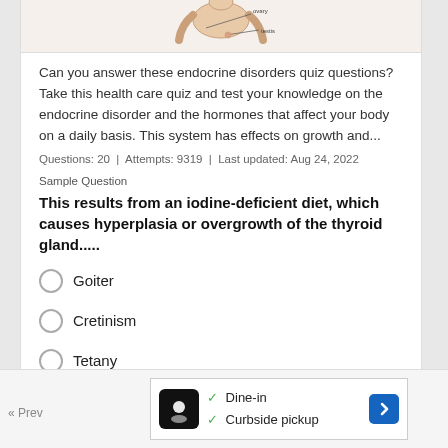[Figure (illustration): Partial anatomical diagram showing ovary and testis labels on a human body outline, top portion cropped]
Can you answer these endocrine disorders quiz questions? Take this health care quiz and test your knowledge on the endocrine disorder and the hormones that affect your body on a daily basis. This system has effects on growth and...
Questions: 20  |  Attempts: 9319  |  Last updated: Aug 24, 2022
Sample Question
This results from an iodine-deficient diet, which causes hyperplasia or overgrowth of the thyroid gland.....
Goiter
Cretinism
Tetany
None of these